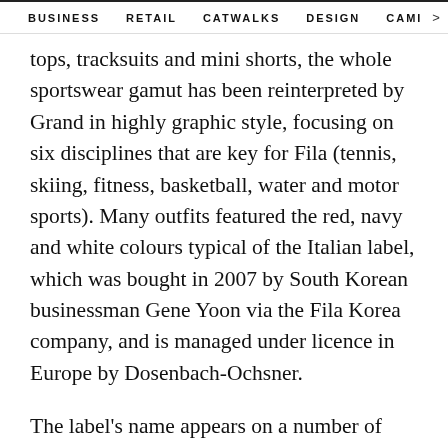BUSINESS   RETAIL   CATWALKS   DESIGN   CAMI  >
tops, tracksuits and mini shorts, the whole sportswear gamut has been reinterpreted by Grand in highly graphic style, focusing on six disciplines that are key for Fila (tennis, skiing, fitness, basketball, water and motor sports). Many outfits featured the red, navy and white colours typical of the Italian label, which was bought in 2007 by South Korean businessman Gene Yoon via the Fila Korea company, and is managed under licence in Europe by Dosenbach-Ochsner.
The label's name appears on a number of items, either discreetly as a micro-logo on a sleeve or collar, or more visibly in bold capital letters in Fila's highly recognisable navy and red font. Fila's Fall/Winter 2021-22 collection featured a series of essentials with a deliciously vintage